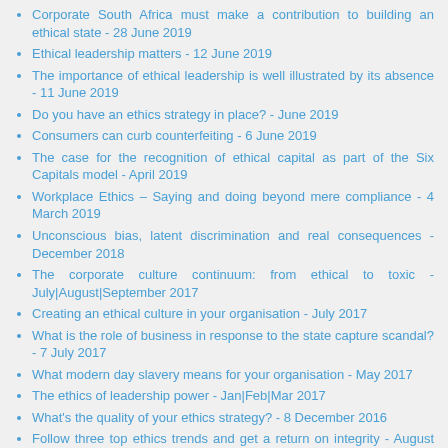Corporate South Africa must make a contribution to building an ethical state - 28 June 2019
Ethical leadership matters - 12 June 2019
The importance of ethical leadership is well illustrated by its absence - 11 June 2019
Do you have an ethics strategy in place? - June 2019
Consumers can curb counterfeiting - 6 June 2019
The case for the recognition of ethical capital as part of the Six Capitals model - April 2019
Workplace Ethics – Saying and doing beyond mere compliance - 4 March 2019
Unconscious bias, latent discrimination and real consequences - December 2018
The corporate culture continuum: from ethical to toxic - July|August|September 2017
Creating an ethical culture in your organisation - July 2017
What is the role of business in response to the state capture scandal? - 7 July 2017
What modern day slavery means for your organisation - May 2017
The ethics of leadership power - Jan|Feb|Mar 2017
What's the quality of your ethics strategy? - 8 December 2016
Follow three top ethics trends and get a return on integrity - August 2016